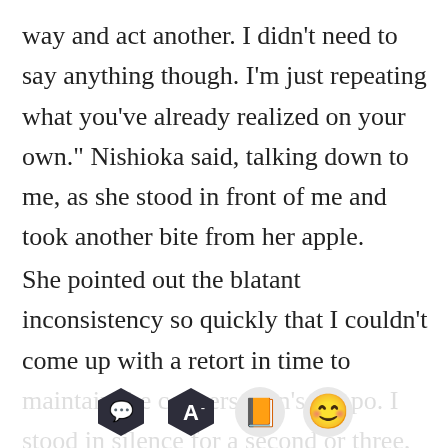way and act another. I didn't need to say anything though. I'm just repeating what you've already realized on your own." Nishioka said, talking down to me, as she stood in front of me and took another bite from her apple.
She pointed out the blatant inconsistency so quickly that I couldn't come up with a retort in time to maintain the conversation's tempo. I stood in silence for a second or three, until I said "I went after Zen End because they were being violent. I sense they were a threat to me, so I
[Figure (other): App toolbar overlay with four buttons: speech bubble icon (dark hexagon), letter A minus icon (dark hexagon), orange book icon (circle), and smiling face emoji (circle)]